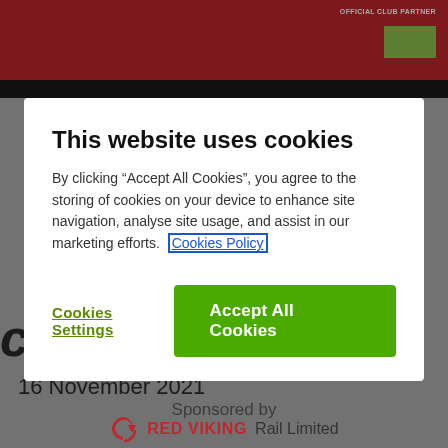OFFICIAL CLUB PARTNER
This website uses cookies
By clicking “Accept All Cookies”, you agree to the storing of cookies on your device to enhance site navigation, analyse site usage, and assist in our marketing efforts. Cookies Policy
Cookies Settings
Accept All Cookies
cup round two)
16 November 2021
Sponsored by
[Figure (logo): Red Viking Rail Limited logo with red circular arrow icon]